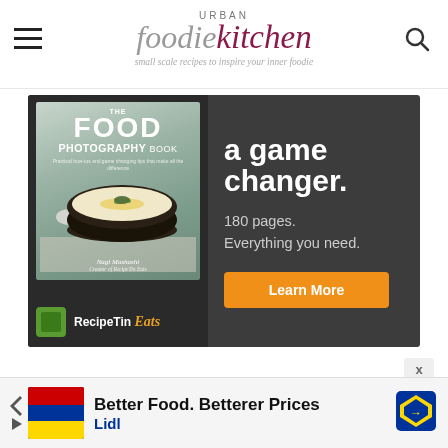Urban Foodie Kitchen — small scale recipes to inspire your inner foodie
[Figure (illustration): Advertisement banner for The Food Photography Book by Nagi Mashashi, Creator of RecipeTin Eats. Dark background with book cover on left showing a bowl of soup, and text on right: 'a game changer. 180 pages. Everything you need.' with an orange Learn More button and RecipeTin Eats logo at bottom left.]
[Figure (illustration): Bottom banner advertisement for Lidl: 'Better Food. Betterer Prices — Lidl' with Lidl logo box and navigation arrow icon.]